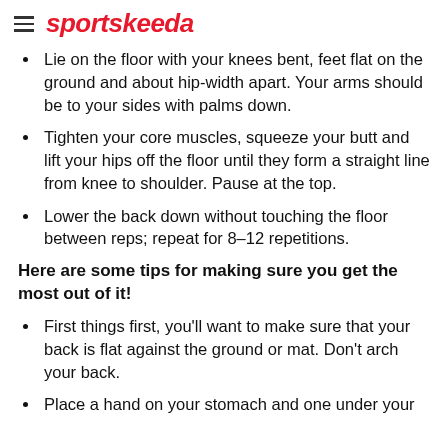sportskeeda
Lie on the floor with your knees bent, feet flat on the ground and about hip-width apart. Your arms should be to your sides with palms down.
Tighten your core muscles, squeeze your butt and lift your hips off the floor until they form a straight line from knee to shoulder. Pause at the top.
Lower the back down without touching the floor between reps; repeat for 8–12 repetitions.
Here are some tips for making sure you get the most out of it!
First things first, you'll want to make sure that your back is flat against the ground or mat. Don't arch your back.
Place a hand on your stomach and one under your